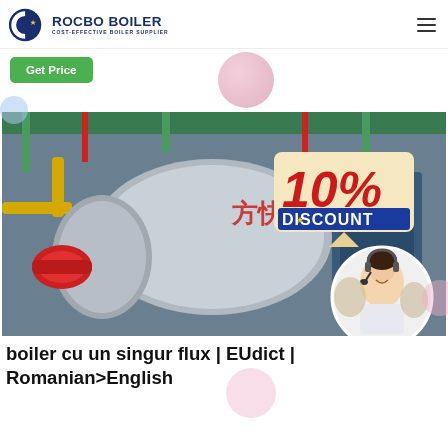[Figure (logo): Rocbo Boiler logo with circular blue icon and company name]
Get Price
[Figure (photo): Industrial boiler equipment in a factory setting with a 10% discount badge overlay and a customer service representative in a circular photo insert]
boiler cu un singur flux | EUdict | Romanian>English